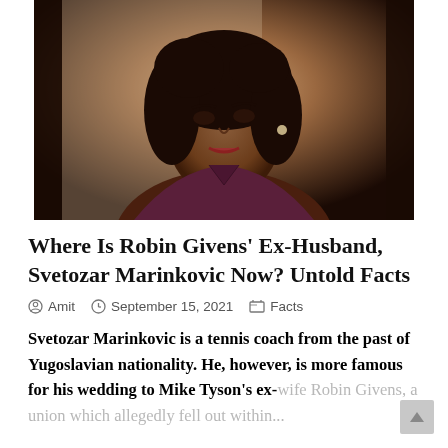[Figure (photo): Portrait photo of a woman with dark curly hair, wearing a dark maroon/purple top, looking upward and to the left, with earrings visible.]
Where Is Robin Givens' Ex-Husband, Svetozar Marinkovic Now? Untold Facts
Amit   September 15, 2021   Facts
Svetozar Marinkovic is a tennis coach from the past of Yugoslavian nationality. He, however, is more famous for his wedding to Mike Tyson's ex-wife Robin Givens, a union which allegedly fell out within...